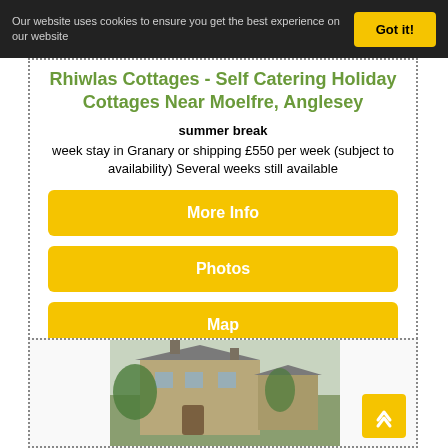Our website uses cookies to ensure you get the best experience on our website  Got it!
Rhiwlas Cottages - Self Catering Holiday Cottages Near Moelfre, Anglesey
summer break
week stay in Granary or shipping £550 per week (subject to availability) Several weeks still available
More Info
Photos
Map
[Figure (photo): Exterior view of a stone cottage building with multiple chimneys and garden greenery in front]